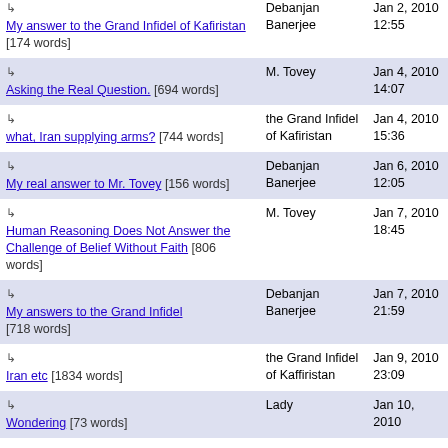| Title | Author | Date |
| --- | --- | --- |
| ↳ My answer to the Grand Infidel of Kafiristan [174 words] | Debanjan Banerjee | Jan 2, 2010 12:55 |
| ↳ Asking the Real Question. [694 words] | M. Tovey | Jan 4, 2010 14:07 |
| ↳ what, Iran supplying arms? [744 words] | the Grand Infidel of Kafiristan | Jan 4, 2010 15:36 |
| ↳ My real answer to Mr. Tovey [156 words] | Debanjan Banerjee | Jan 6, 2010 12:05 |
| ↳ Human Reasoning Does Not Answer the Challenge of Belief Without Faith [806 words] | M. Tovey | Jan 7, 2010 18:45 |
| ↳ My answers to the Grand Infidel [718 words] | Debanjan Banerjee | Jan 7, 2010 21:59 |
| ↳ Iran etc [1834 words] | the Grand Infidel of Kaffiristan | Jan 9, 2010 23:09 |
| ↳ Wondering [73 words] | Lady | Jan 10, 2010 |